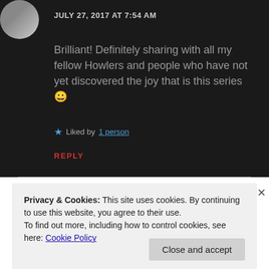[Figure (photo): Circular avatar photo of a person in the top-left corner]
JULY 27, 2017 AT 7:54 AM
Brilliant! Definitely sharing with all my fellow Howlers and people who have not yet discovered the joy that is this series 😀
★ Liked by 1 person
REPLY
Privacy & Cookies: This site uses cookies. By continuing to use this website, you agree to their use.
To find out more, including how to control cookies, see here: Cookie Policy
Close and accept